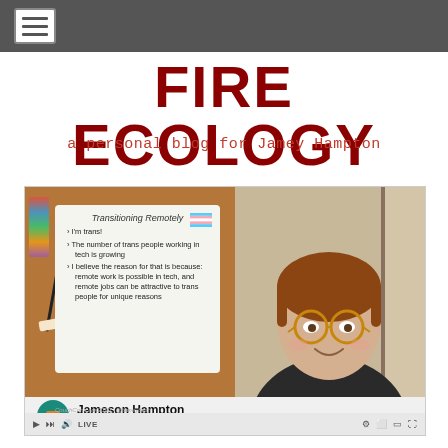Navigation bar with hamburger menu
FIRE ECOLOGY
a personal blog for Jamey Hampton
[Figure (screenshot): Screenshot of a video/livestream showing a presentation slide titled 'Transitioning Remotely' with bullet points about trans people in tech, a trans flag icon, and a presenter named Jameson Hampton (@jameybash) from CouchCon Live 2020. The lower bar shows video player controls including play button, skip, volume, LIVE badge, and settings icons.]